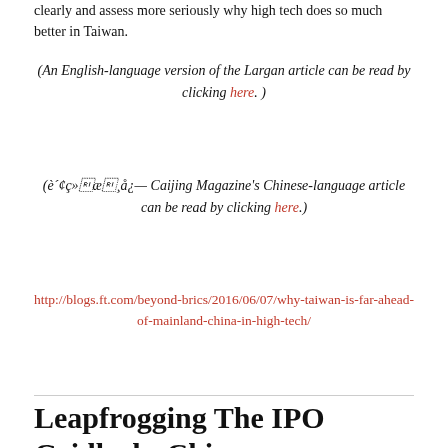clearly and assess more seriously why high tech does so much better in Taiwan.
(An English-language version of the Largan article can be read by clicking here. )
(è´¢ç»æ¸å¿— Caijing Magazine's Chinese-language article can be read by clicking here.)
http://blogs.ft.com/beyond-brics/2016/06/07/why-taiwan-is-far-ahead-of-mainland-china-in-high-tech/
Leapfrogging The IPO Gridlock: Chinese Companies Get A Taste